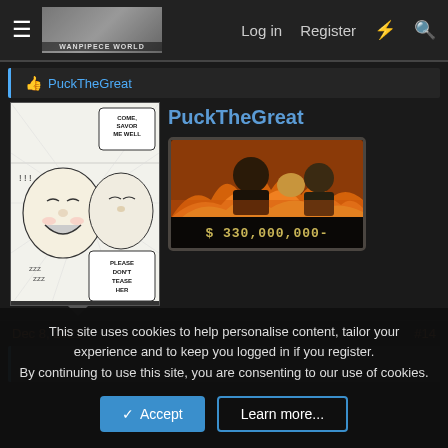Log in  Register
PuckTheGreat
[Figure (illustration): Manga panel showing two characters with speech bubbles: 'COME, SAVOR ME WELL' and 'PLEASE DON'T TEASE HER']
PuckTheGreat
[Figure (illustration): Anime-style bounty poster image showing a character surrounded by flames, with text '$ 330,000,000-' at the bottom]
Dec 8, 2021
#14
This site uses cookies to help personalise content, tailor your experience and to keep you logged in if you register.
By continuing to use this site, you are consenting to our use of cookies.
Accept
Learn more...